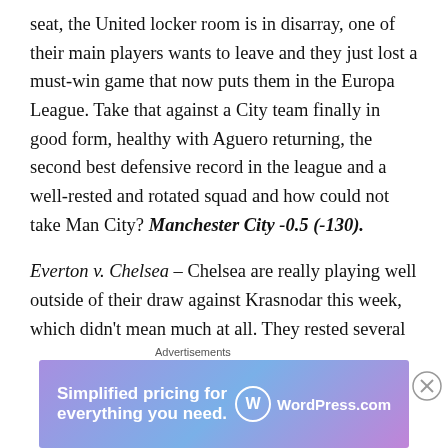seat, the United locker room is in disarray, one of their main players wants to leave and they just lost a must-win game that now puts them in the Europa League. Take that against a City team finally in good form, healthy with Aguero returning, the second best defensive record in the league and a well-rested and rotated squad and how could not take Man City? Manchester City -0.5 (-130).
Everton v. Chelsea – Chelsea are really playing well outside of their draw against Krasnodar this week, which didn't mean much at all. They rested several key players and should be ready to go for this
[Figure (other): WordPress.com advertisement banner: 'Simplified pricing for everything you need.' with WordPress.com logo on gradient purple-blue background]